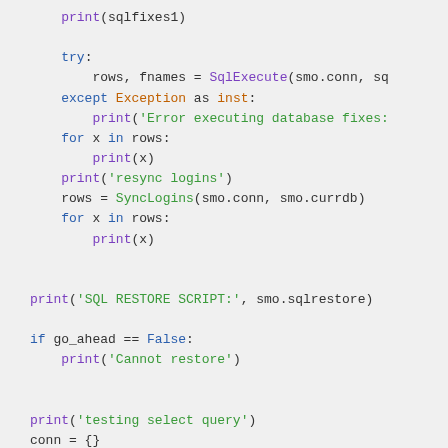[Figure (screenshot): Python code snippet showing try/except block, for loops with print statements, SyncLogins call, SQL restore script print, go_ahead condition check, and beginning of testing select query section with conn dictionary initialization.]